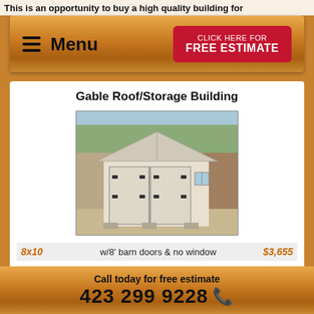This is an opportunity to buy a high quality building for
[Figure (screenshot): Navigation bar with hamburger Menu icon on left and red 'CLICK HERE FOR FREE ESTIMATE' button on right, on wood-textured background]
Gable Roof/Storage Building
[Figure (photo): Photo of a white gable-roof storage shed with double barn doors and a small window, set outdoors]
| Size | Description | Price |
| --- | --- | --- |
| 8x10 | w/8' barn doors & no window | $3,655 |
| 10x12 | w/4' barn door & 2 windows | $4,155 |
| 10x12 | w/8' barn doors & no window | $4,015 |
| 10x16 | w/8' barn doors & 1 window | $4,455 |
Call today for free estimate
423 299 9228